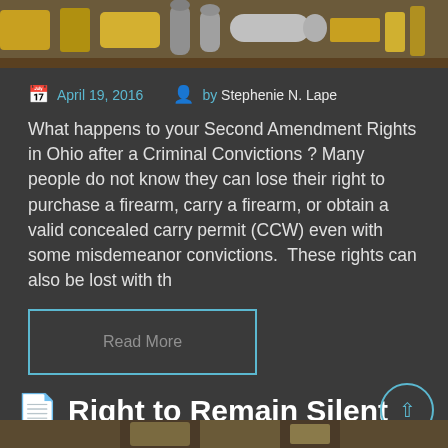[Figure (photo): Top portion of a photo showing ammunition/bullets and related items on a wooden surface, partially cropped]
April 19, 2016   by Stephenie N. Lape
What happens to your Second Amendment Rights in Ohio after a Criminal Convictions ? Many people do not know they can lose their right to purchase a firearm, carry a firearm, or obtain a valid concealed carry permit (CCW) even with some misdemeanor convictions.  These rights can also be lost with th
Read More
Right to Remain Silent
[Figure (photo): Bottom portion showing the start of another article's image]